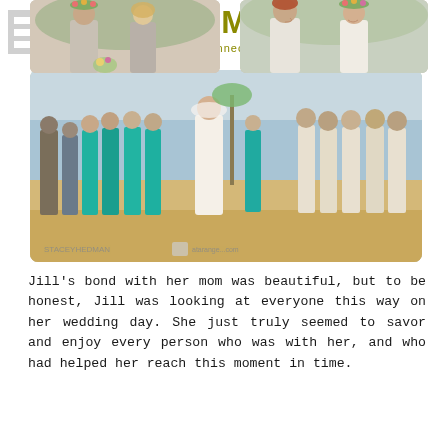HEDMAN
brand + self // connection + curiosity
[Figure (photo): Beach wedding ceremony photo showing bridal party in teal/turquoise dresses on sandy beach with water in background. Bride in white dress center, groomsmen in tan/khaki on right. Watermark reads STACEYHEDMAN and atarange...com]
Jill's bond with her mom was beautiful, but to be honest, Jill was looking at everyone this way on her wedding day. She just truly seemed to savor and enjoy every person who was with her, and who had helped her reach this moment in time.
[Figure (photo): Two women smiling at each other, one with flower crown, one blonde, outdoors at wedding]
[Figure (photo): Couple at beach wedding, groom with red hair in white shirt, bride with flower crown smiling at each other]